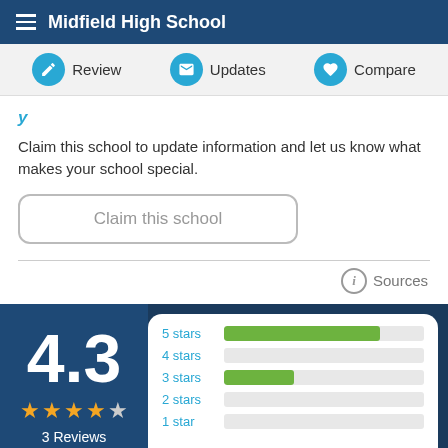Midfield High School
Review | Updates | Compare
Claim this school to update information and let us know what makes your school special.
Claim this school
Sources
[Figure (bar-chart): Reviews rating distribution]
4.3
3 Reviews